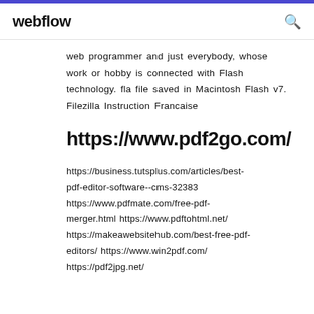webflow
web programmer and just everybody, whose work or hobby is connected with Flash technology. fla file saved in Macintosh Flash v7. Filezilla Instruction Francaise
https://www.pdf2go.com/
https://business.tutsplus.com/articles/best-pdf-editor-software--cms-32383 https://www.pdfmate.com/free-pdf-merger.html https://www.pdftohtml.net/ https://makeawebsitehub.com/best-free-pdf-editors/ https://www.win2pdf.com/ https://pdf2jpg.net/